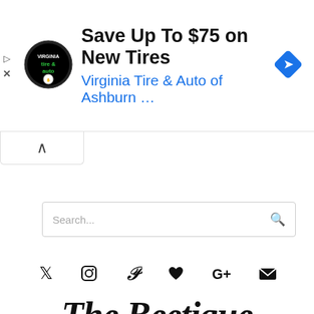[Figure (screenshot): Advertisement banner for Virginia Tire & Auto of Ashburn with circular logo, headline 'Save Up To $75 on New Tires', subtext 'Virginia Tire & Auto of Ashburn ...', and a blue diamond navigation icon on the right. Small play and close icons on the left edge.]
[Figure (screenshot): Collapsed/minimized tab with an upward caret arrow, indicating the ad can be collapsed.]
[Figure (screenshot): Search bar with placeholder text 'Search...' and a magnifying glass icon on the right.]
[Figure (screenshot): Row of social media icons: Twitter bird, Instagram camera, Pinterest P, heart/Bloglovin, Google+, and email envelope.]
The Beetique